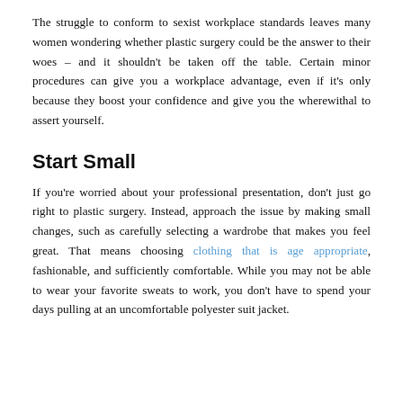The struggle to conform to sexist workplace standards leaves many women wondering whether plastic surgery could be the answer to their woes – and it shouldn't be taken off the table. Certain minor procedures can give you a workplace advantage, even if it's only because they boost your confidence and give you the wherewithal to assert yourself.
Start Small
If you're worried about your professional presentation, don't just go right to plastic surgery. Instead, approach the issue by making small changes, such as carefully selecting a wardrobe that makes you feel great. That means choosing clothing that is age appropriate, fashionable, and sufficiently comfortable. While you may not be able to wear your favorite sweats to work, you don't have to spend your days pulling at an uncomfortable polyester suit jacket.